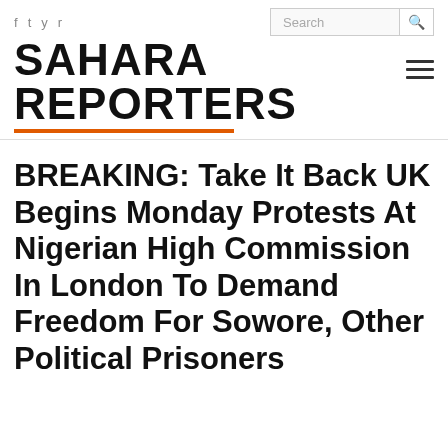Sahara Reporters
BREAKING: Take It Back UK Begins Monday Protests At Nigerian High Commission In London To Demand Freedom For Sowore, Other Political Prisoners